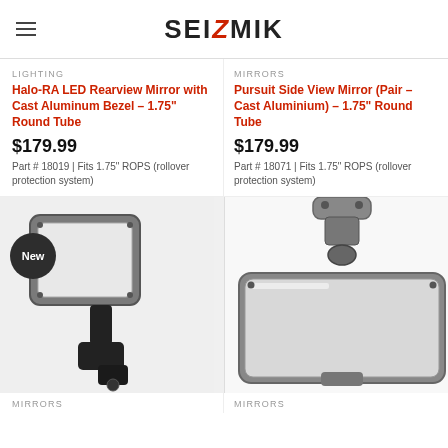SEIZMIK
LIGHTING
Halo-RA LED Rearview Mirror with Cast Aluminum Bezel – 1.75" Round Tube
$179.99
Part # 18019 | Fits 1.75" ROPS (rollover protection system)
MIRRORS
Pursuit Side View Mirror (Pair – Cast Aluminium) – 1.75" Round Tube
$179.99
Part # 18071 | Fits 1.75" ROPS (rollover protection system)
[Figure (photo): Halo-RA LED Rearview Mirror with gray cast aluminum bezel and black mounting bracket, shown with 'New' badge]
[Figure (photo): Close-up of a rearview mirror with metallic/chrome frame and clamp mount from above]
MIRRORS
MIRRORS